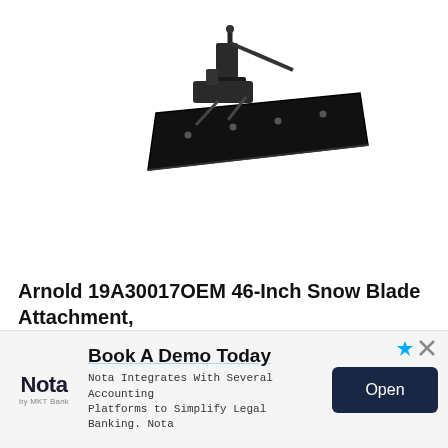[Figure (photo): Black snow blade attachment product image, angled view showing the plow blade with mounting bracket and hydraulic arm.]
Arnold 19A30017OEM 46-Inch Snow Blade Attachment,
Delivered anywhere in USA
Amazon  - Since today
Price: 249 $
Product condition: New
[Figure (logo): Nota by MKT Bank logo]
Book A Demo Today
Nota Integrates With Several Accounting Platforms to Simplify Legal Banking. Nota